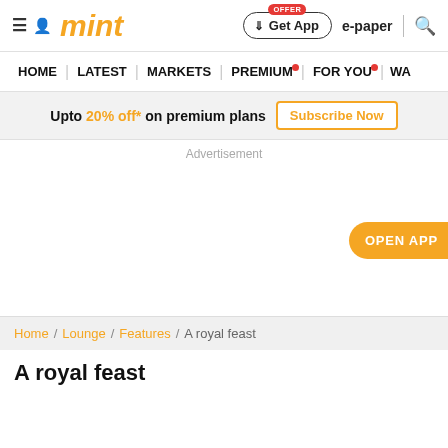mint — Get App | e-paper | search
HOME | LATEST | MARKETS | PREMIUM | FOR YOU | WA
Upto 20% off* on premium plans Subscribe Now
Advertisement
OPEN APP
Home / Lounge / Features / A royal feast
A royal feast